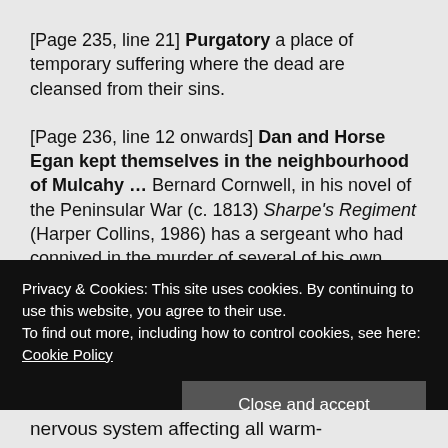[Page 235, line 21] Purgatory a place of temporary suffering where the dead are cleansed from their sins.
[Page 236, line 12 onwards] Dan and Horse Egan kept themselves in the neighbourhood of Mulcahy ... Bernard Cornwell, in his novel of the Peninsular War (c. 1813) Sharpe's Regiment (Harper Collins, 1986) has a sergeant who had connived in the murder of several of his own men killed in a similar manner. One wonders if the incident was inspired by...
Privacy & Cookies: This site uses cookies. By continuing to use this website, you agree to their use.
To find out more, including how to control cookies, see here:
Cookie Policy
nervous system affecting all warm-